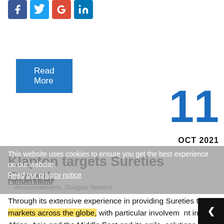[Figure (other): Social media share icons: Facebook (blue), Twitter (light blue), Google+ (red), LinkedIn (blue)]
Read More
11
OCT 2021
This website uses cookies to ensure you get the best experience on our website. Read our privacy notice
Klapton targets Sureties Growth
Announcements, Douglas Newton
Through its extensive experience in providing Sureties to markets across the globe, with particular involvement in Africa, Asia and the Middle East and its agile, solutions-based approach, Klapton has established a